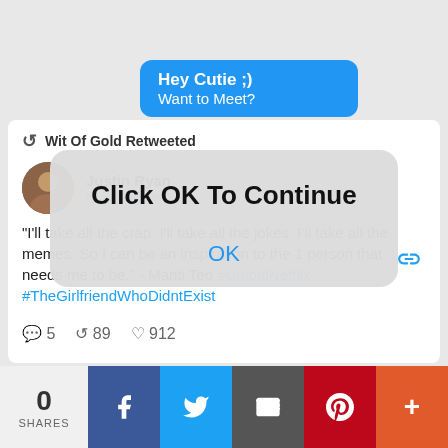[Figure (screenshot): Twitter mobile app screenshot with notification popup 'Hey Cutie ;) Want to Meet?', a tweet by Justin Ryan retweeted by Wit Of Gold about Manti Teo quote with hashtags #UntoldNetflix and #TheGirlfriendWhoDidntExist, overlaid by a modal dialog saying 'Click OK To Continue' with an OK button, and a social share bar at the bottom showing 0 SHARES with Facebook, Twitter, email, Pinterest, and more buttons.]